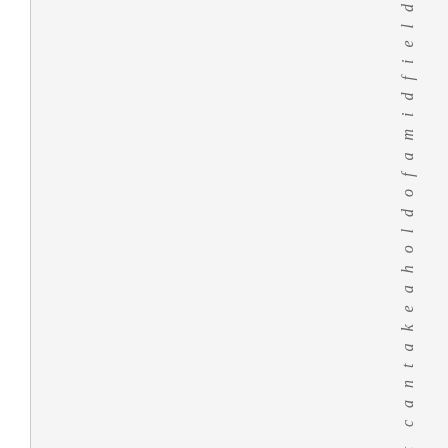[Figure (other): A blank light gray panel on the left side of the page, bordered by thin lines on left and right edges]
i ad that can take a hold of a mid field